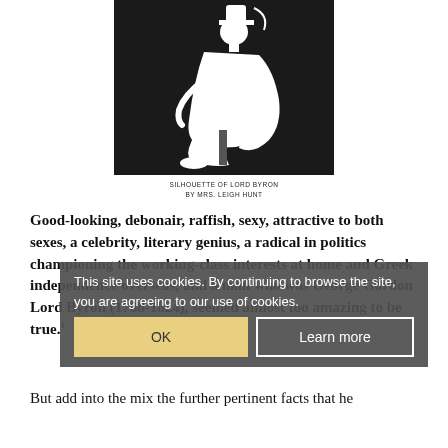[Figure (illustration): Silhouette of Lord Byron — a white silhouette of a seated man wearing a cape and hat against a black background, created by Mrs. Leigh Hunt]
SILHOUETTE OF LORD BYRON
BY MRS. LEIGH HUNT
Good-looking, debonair, raffish, sexy, attractive to both sexes, a celebrity, literary genius, a radical in politics championing the working-class interests at home and Greek independence overseas, and a man who was George Gordon Lord Byron (1788-1824), seemed almost too amazing to be true.
But add into the mix the further pertinent facts that he